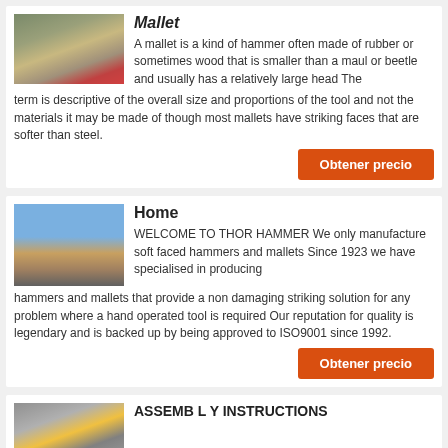[Figure (photo): Industrial machinery/mallet equipment photo]
Mallet
A mallet is a kind of hammer often made of rubber or sometimes wood that is smaller than a maul or beetle and usually has a relatively large head The term is descriptive of the overall size and proportions of the tool and not the materials it may be made of though most mallets have striking faces that are softer than steel.
Obtener precio
[Figure (photo): Industrial mining/crushing equipment outdoor photo]
Home
WELCOME TO THOR HAMMER We only manufacture soft faced hammers and mallets Since 1923 we have specialised in producing hammers and mallets that provide a non damaging striking solution for any problem where a hand operated tool is required Our reputation for quality is legendary and is backed up by being approved to ISO9001 since 1992.
Obtener precio
[Figure (photo): Industrial conveyor/assembly equipment photo]
ASSEMB L Y INSTRUCTIONS
with hammer paso 5 ajuste el panel d o al panel b